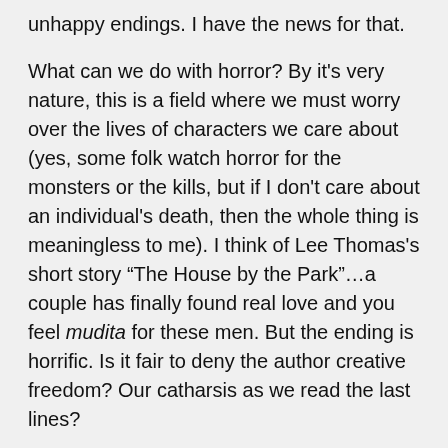unhappy endings. I have the news for that.
What can we do with horror? By it's very nature, this is a field where we must worry over the lives of characters we care about (yes, some folk watch horror for the monsters or the kills, but if I don't care about an individual's death, then the whole thing is meaningless to me). I think of Lee Thomas's short story “The House by the Park”…a couple has finally found real love and you feel mudita for these men. But the ending is horrific. Is it fair to deny the author creative freedom? Our catharsis as we read the last lines?
What I want authors to come away from this essay with the knowledge that they have a choice. Unless the story demands the death of a queer character (murder or mishap, fine, but please no more suicides, it kills our entire community bit by bit every time) then ask whether or not